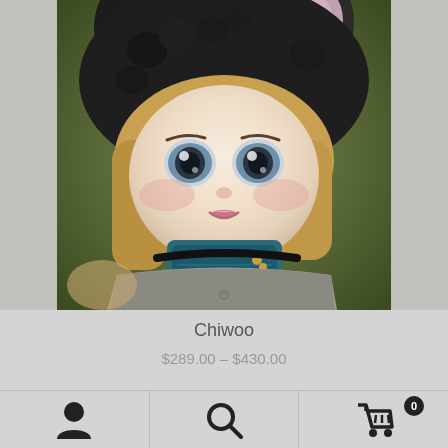[Figure (photo): Close-up photo of a ball-jointed doll named Chiwoo wearing a dark fuzzy bear-ear hat, blonde bob wig, teal scarf, and grey jacket, against a green blurred background]
Chiwoo
$289.00 – $430.00
[Figure (infographic): Bottom navigation bar with three icons: person/account icon, search magnifying glass icon, and shopping cart icon with badge showing 0]